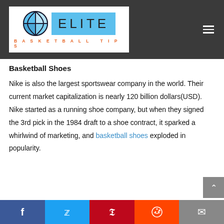Elite Basketball Tips
Basketball Shoes
Nike is also the largest sportswear company in the world. Their current market capitalization is nearly 120 billion dollars(USD). Nike started as a running shoe company, but when they signed the 3rd pick in the 1984 draft to a shoe contract, it sparked a whirlwind of marketing, and basketball shoes exploded in popularity.
Social share bar: Facebook, Twitter, Pinterest, Reddit, Email